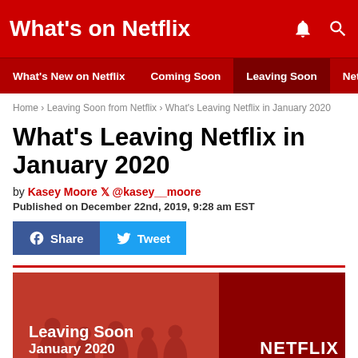What's on Netflix
What's New on Netflix | Coming Soon | Leaving Soon | Netflix Ne
Home › Leaving Soon from Netflix › What's Leaving Netflix in January 2020
What's Leaving Netflix in January 2020
by Kasey Moore 🐦 @kasey__moore
Published on December 22nd, 2019, 9:28 am EST
[Figure (screenshot): Social share buttons: Facebook Share and Twitter Tweet]
[Figure (illustration): Promotional banner image with red background showing silhouetted people, text 'Leaving Soon January 2020' on left and NETFLIX logo on right]